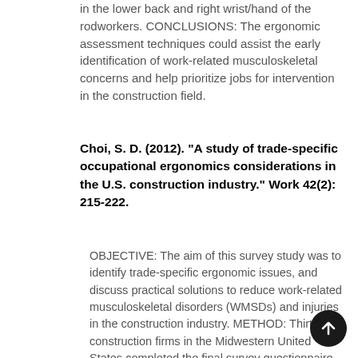in the lower back and right wrist/hand of the rodworkers. CONCLUSIONS: The ergonomic assessment techniques could assist the early identification of work-related musculoskeletal concerns and help prioritize jobs for intervention in the construction field.
Choi, S. D. (2012). "A study of trade-specific occupational ergonomics considerations in the U.S. construction industry." Work 42(2): 215-222.
OBJECTIVE: The aim of this survey study was to identify trade-specific ergonomic issues, and discuss practical solutions to reduce work-related musculoskeletal disorders (WMSDs) and injuries in the construction industry. METHOD: Thirty-two construction firms in the Midwestern United States completed the final survey questionnaire. Twelve different